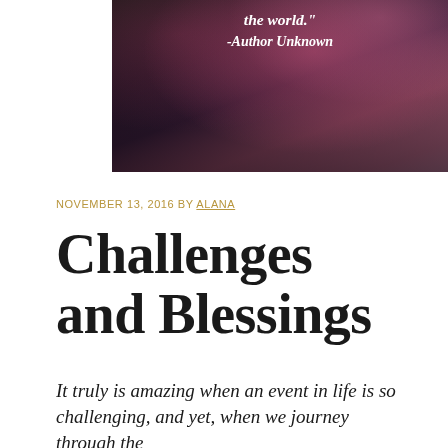[Figure (photo): Close-up photo of pink flowers with dark green background, overlaid with white italic text quote 'the world.' and '-Author Unknown']
NOVEMBER 13, 2016 BY ALANA
Challenges and Blessings
It truly is amazing when an event in life is so challenging, and yet, when we journey through the